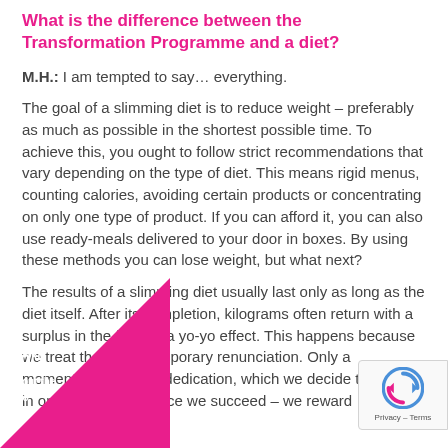What is the difference between the Transformation Programme and a diet?
M.H.: I am tempted to say… everything.
The goal of a slimming diet is to reduce weight – preferably as much as possible in the shortest possible time. To achieve this, you ought to follow strict recommendations that vary depending on the type of diet. This means rigid menus, counting calories, avoiding certain products or concentrating on only one type of product. If you can afford it, you can also use ready-meals delivered to your door in boxes. By using these methods you can lose weight, but what next?
The results of a slimming diet usually last only as long as the diet itself. After its completion, kilograms often return with a surplus in the form of a yo-yo effect. This happens because we treat the diet a temporary renunciation. Only a momentary effort and dedication, which we decide to put in, in ord lose weight. Once we succeed – we reward
[Figure (infographic): Pink triangle at bottom left with white text: -40kg without the yo-yo effect]
[Figure (logo): reCAPTCHA badge at bottom right with spinning arrows icon and 'Privacy – Terms' text]